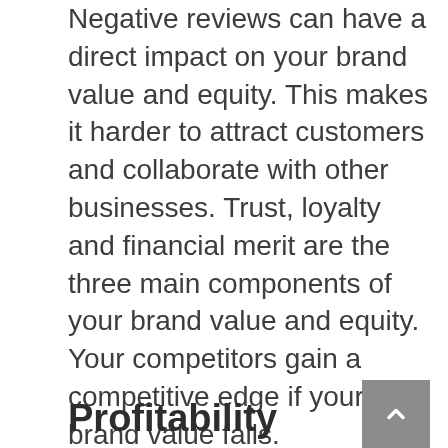Negative reviews can have a direct impact on your brand value and equity. This makes it harder to attract customers and collaborate with other businesses. Trust, loyalty and financial merit are the three main components of your brand value and equity. Your competitors gain a competitive edge if your brand value falls. Consumers will seek out products similar to yours from companies with a positive reputation.
Profitability